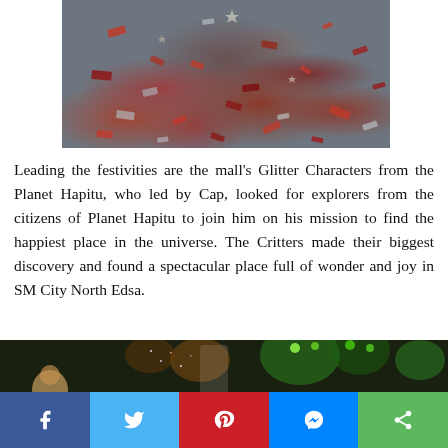[Figure (photo): Close-up photo of colorful confetti and glitter scattered on a gray carpet/floor surface]
Leading the festivities are the mall's Glitter Characters from the Planet Hapitu, who led by Cap, looked for explorers from the citizens of Planet Hapitu to join him on his mission to find the happiest place in the universe. The Critters made their biggest discovery and found a spectacular place full of wonder and joy in SM City North Edsa.
[Figure (photo): Indoor event photo showing a large letter P on a decorated stage with colorful green and orange stage lights, sparkly backdrop, and festive decorations]
[Figure (infographic): Social media sharing bar with Facebook, Twitter, Pinterest, Messenger, and Share buttons]